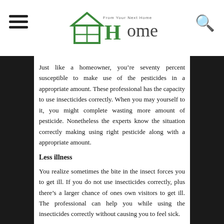Home - From Your Next Home logo
Just like a homeowner, you’re seventy percent susceptible to make use of the pesticides in a appropriate amount. These professional has the capacity to use insecticides correctly. When you may yourself to it, you might complete wasting more amount of pesticide. Nonetheless the experts know the situation correctly making using right pesticide along with a appropriate amount.
Less illness
You realize sometimes the bite in the insect forces you to get ill. If you do not use insecticides correctly, plus there’s a larger chance of ones own visitors to get ill. The professional can help you while using the insecticides correctly without causing you to feel sick.